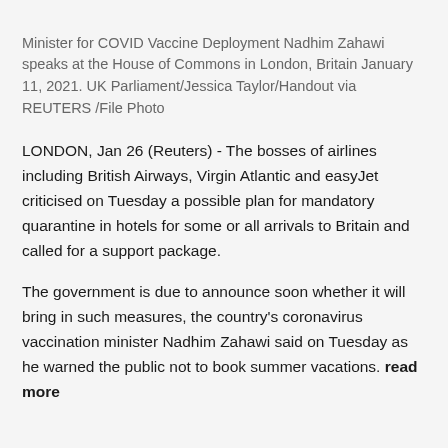Minister for COVID Vaccine Deployment Nadhim Zahawi speaks at the House of Commons in London, Britain January 11, 2021. UK Parliament/Jessica Taylor/Handout via REUTERS /File Photo
LONDON, Jan 26 (Reuters) - The bosses of airlines including British Airways, Virgin Atlantic and easyJet criticised on Tuesday a possible plan for mandatory quarantine in hotels for some or all arrivals to Britain and called for a support package.
The government is due to announce soon whether it will bring in such measures, the country's coronavirus vaccination minister Nadhim Zahawi said on Tuesday as he warned the public not to book summer vacations. read more